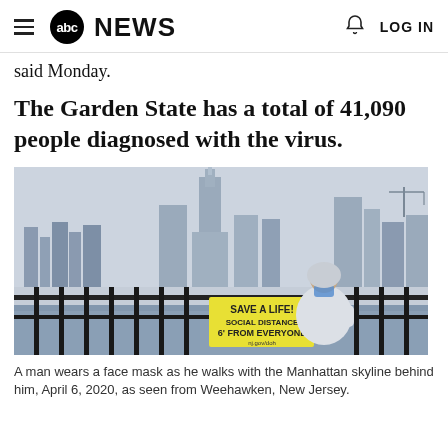abc NEWS | LOG IN
said Monday.
The Garden State has a total of 41,090 people diagnosed with the virus.
[Figure (photo): A man wearing a face mask and hoodie walks along a railing with the Manhattan skyline behind him. A yellow sign on the railing reads: SAVE A LIFE! SOCIAL DISTANCE 6' FROM EVERYONE. Photo taken April 6, 2020, as seen from Weehawken, New Jersey.]
A man wears a face mask as he walks with the Manhattan skyline behind him, April 6, 2020, as seen from Weehawken, New Jersey.